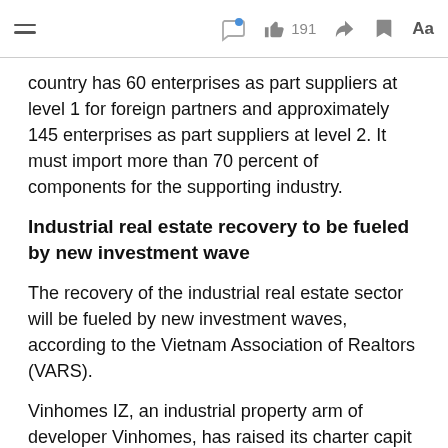[ hamburger menu ] [ chat icon with dot ] [ 191 likes ] [ share ] [ bookmark ] [ Aa ]
country has 60 enterprises as part suppliers at level 1 for foreign partners and approximately 145 enterprises as part suppliers at level 2. It must import more than 70 percent of components for the supporting industry.
Industrial real estate recovery to be fueled by new investment wave
The recovery of the industrial real estate sector will be fueled by new investment waves, according to the Vietnam Association of Realtors (VARS).
Vinhomes IZ, an industrial property arm of developer Vinhomes, has raised its charter capital from 70 billion VND (3.02 million USD) to 18.5